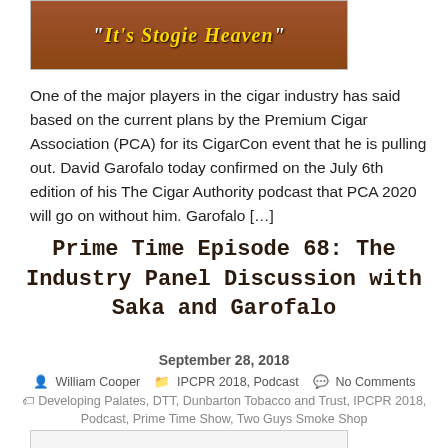[Figure (illustration): Banner image with text 'It's Stogie Heaven' in italic bold style on a brown/red background]
One of the major players in the cigar industry has said based on the current plans by the Premium Cigar Association (PCA) for its CigarCon event that he is pulling out. David Garofalo today confirmed on the July 6th edition of his The Cigar Authority podcast that PCA 2020 will go on without him. Garofalo […]
Prime Time Episode 68: The Industry Panel Discussion with Saka and Garofalo
September 28, 2018
William Cooper   IPCPR 2018, Podcast   No Comments
Developing Palates, DTT, Dunbarton Tobacco and Trust, IPCPR 2018, Podcast, Prime Time Show, Two Guys Smoke Shop
[Figure (photo): Partial image visible at bottom of page, appears to show smoke]